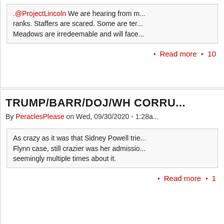.@ProjectLincoln We are hearing from m... ranks. Staffers are scared. Some are ter... Meadows are irredeemable and will face...
Read more
TRUMP/BARR/DOJ/WH CORRU...
By PeraclesPlease on Wed, 09/30/2020 - 1:28a...
As crazy as it was that Sidney Powell trie... Flynn case, still crazier was her admissio... seemingly multiple times about it.
Read more
TALKING HEADS ARE SAYING... BIDEN TYPE STUFF
By artappraiser on Tue, 09/29/2020 - 5:00pm...